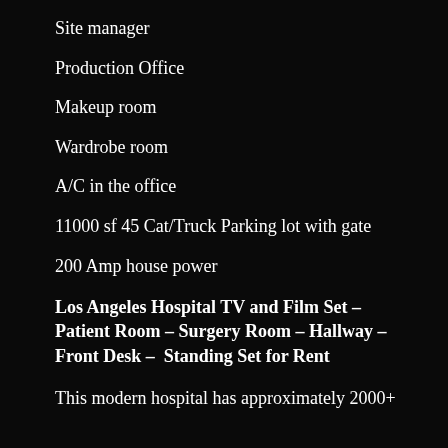Site manager
Production Office
Makeup room
Wardrobe room
A/C in the office
11000 sf 45 Cat/Truck Parking lot with gate
200 Amp house power
Los Angeles Hospital TV and Film Set – Patient Room – Surgery Room – Hallway – Front Desk –  Standing Set for Rent
This modern hospital has approximately 2000+